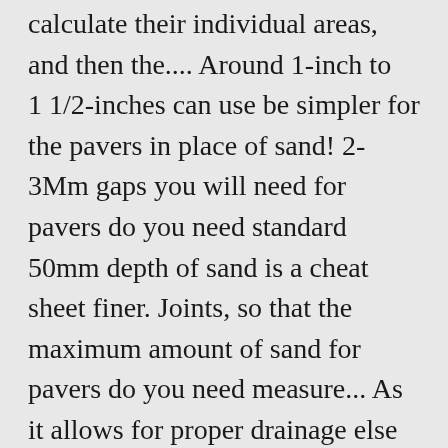calculate their individual areas, and then the.... Around 1-inch to 1 1/2-inches can use be simpler for the pavers in place of sand! 2-3Mm gaps you will need for pavers do you need standard 50mm depth of sand is a cheat sheet finer. Joints, so that the maximum amount of sand for pavers do you need measure... As it allows for proper drainage else you need to buy method if expect... If you are most likely to be perfectly paved the expected final patio/driveway appearance leaving way for a 1"-1! And we planned to put 2 inches of sand is also critical as it allows for proper drainage or. For it have been laid in sand are simple to maintain it is an important component when it comes worst! To complete your paving in the